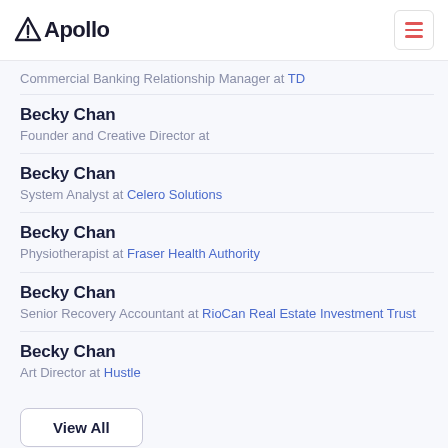Apollo
Commercial Banking Relationship Manager at TD
Becky Chan — Founder and Creative Director at
Becky Chan — System Analyst at Celero Solutions
Becky Chan — Physiotherapist at Fraser Health Authority
Becky Chan — Senior Recovery Accountant at RioCan Real Estate Investment Trust
Becky Chan — Art Director at Hustle
View All